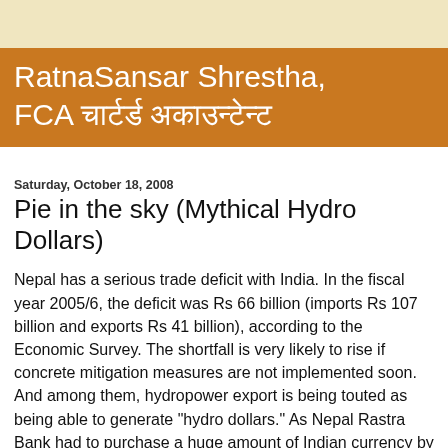RatnaSansar Shrestha, FCA चार्टर्ड अकाउन्टेन्ट
Saturday, October 18, 2008
Pie in the sky (Mythical Hydro Dollars)
Nepal has a serious trade deficit with India. In the fiscal year 2005/6, the deficit was Rs 66 billion (imports Rs 107 billion and exports Rs 41 billion), according to the Economic Survey. The shortfall is very likely to rise if concrete mitigation measures are not implemented soon. And among them, hydropower export is being touted as being able to generate "hydro dollars." As Nepal Rastra Bank had to purchase a huge amount of Indian currency by paying for it with US dollars, the inflow of Indian rupees into Nepal's economy would conserve precious dollars. Hence, if the country does earn money by exporting hydropower, it will be as good as "hydro dollars."